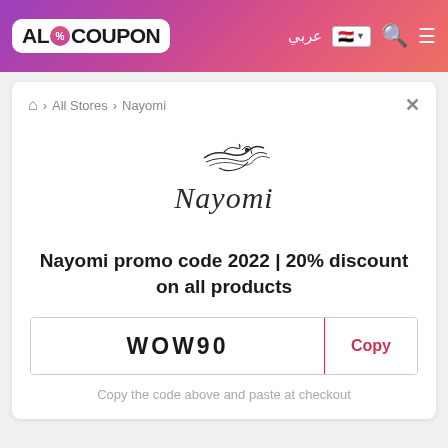[Figure (logo): AloCoupon website header logo with gradient purple-pink background, search icon and menu icon]
🏠 > All Stores > Nayomi
[Figure (logo): Nayomi brand logo with Arabic calligraphy above and 'Nayomi' in stylized Latin script below]
Nayomi promo code 2022 | 20% discount on all products
WOW90
Copy
Copy the code above and paste at checkout